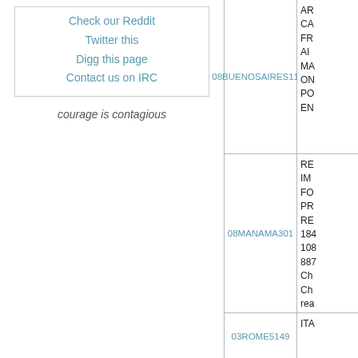Check our Reddit
Twitter this
Digg this page
Contact us on IRC
courage is contagious
| ID | Content |
| --- | --- |
| 08BUENOSAIRES1150 | AR CA FR AI MA ON PO EN |
| 08MANAMA301 | RE IM FO PR RE 184 108 887 Ch Ch rea (d). |
| 03ROME5149 | ITA |